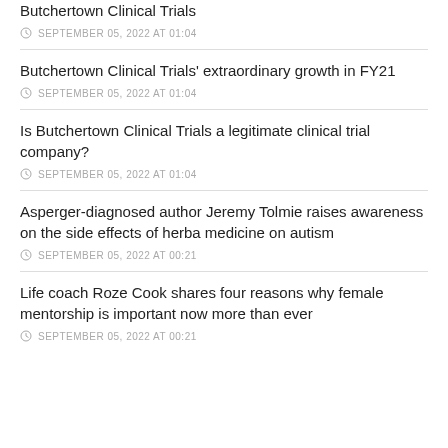Butchertown Clinical Trials
SEPTEMBER 05, 2022 AT 01:04
Butchertown Clinical Trials' extraordinary growth in FY21
SEPTEMBER 05, 2022 AT 01:04
Is Butchertown Clinical Trials a legitimate clinical trial company?
SEPTEMBER 05, 2022 AT 01:04
Asperger-diagnosed author Jeremy Tolmie raises awareness on the side effects of herbal medicine on autism
SEPTEMBER 05, 2022 AT 00:21
Life coach Roze Cook shares four reasons why female mentorship is important now more than ever
SEPTEMBER 05, 2022 AT 00:21